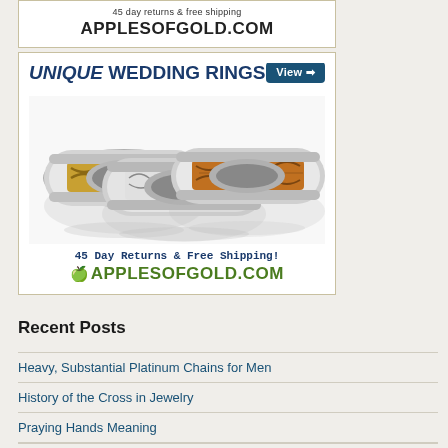[Figure (advertisement): Top banner ad for ApplesOfGold.com showing text '45 day returns & free shipping' and 'APPLESOFGOLD.COM' in bold]
[Figure (advertisement): Main ad for ApplesOfGold.com featuring 'UNIQUE WEDDING RINGS' headline with View button, photo of three decorative wedding rings (gold braided, silver filigree, celtic knot), and footer with '45 Day Returns & Free Shipping!' and 'APPLESOFGOLD.COM' logo]
Recent Posts
Heavy, Substantial Platinum Chains for Men
History of the Cross in Jewelry
Praying Hands Meaning